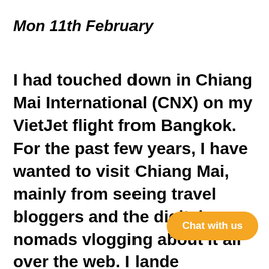Mon 11th February
I had touched down in Chiang Mai International (CNX) on my VietJet flight from Bangkok. For the past few years, I have wanted to visit Chiang Mai, mainly from seeing travel bloggers and the digital nomads vlogging about it all over the web. I lande[d in] the morning with no [place to] stay...